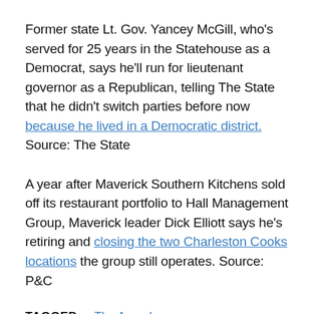Former state Lt. Gov. Yancey McGill, who's served for 25 years in the Statehouse as a Democrat, says he'll run for lieutenant governor as a Republican, telling The State that he didn't switch parties before now because he lived in a Democratic district. Source: The State
A year after Maverick Southern Kitchens sold off its restaurant portfolio to Hall Management Group, Maverick leader Dick Elliott says he's retiring and closing the two Charleston Cooks locations the group still operates. Source: P&C
TAGGED: The Agenda